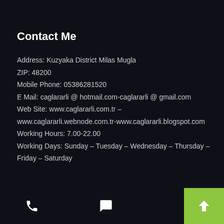Contact Me
Address: Kuzyaka District Milas Mugla
ZIP: 48200
Mobile Phone: 05386281520
E Mail: caglararli @ hotmail.com-caglararli @ gmail.com
Web Site: www.caglararli.com.tr – www.caglararli.webnode.com.tr-www.caglararli.blogspot.com
Working Hours: 7.00-22.00
Working Days: Sunday – Tuesday – Wednesday – Thursday – Friday – Saturday
[phone icon] [chat icon] [up arrow button]